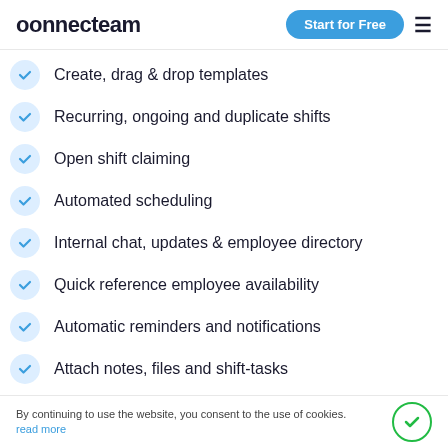connecteam — Start for Free
Create, drag & drop templates
Recurring, ongoing and duplicate shifts
Open shift claiming
Automated scheduling
Internal chat, updates & employee directory
Quick reference employee availability
Automatic reminders and notifications
Attach notes, files and shift-tasks
By continuing to use the website, you consent to the use of cookies. read more